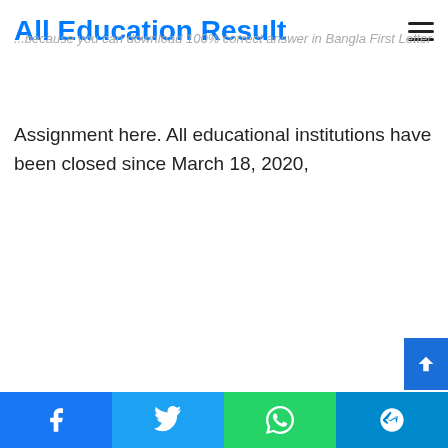All Education Result
...because you can download 100% correct answer in Bangla First Letter
Assignment here. All educational institutions have been closed since March 18, 2020,